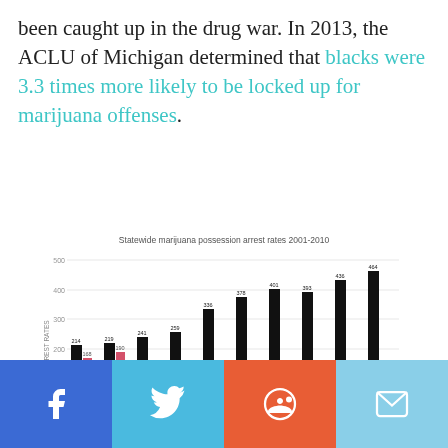been caught up in the drug war. In 2013, the ACLU of Michigan determined that blacks were 3.3 times more likely to be locked up for marijuana offenses.
[Figure (bar-chart): Statewide marijuana possession arrest rates 2001-2010]